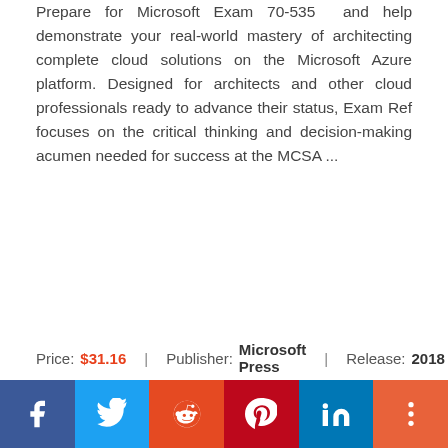Prepare for Microsoft Exam 70-535  and help demonstrate your real-world mastery of architecting complete cloud solutions on the Microsoft Azure platform. Designed for architects and other cloud professionals ready to advance their status, Exam Ref focuses on the critical thinking and decision-making acumen needed for success at the MCSA ...
Price: $31.16  |  Publisher: Microsoft Press  |  Release: 2018